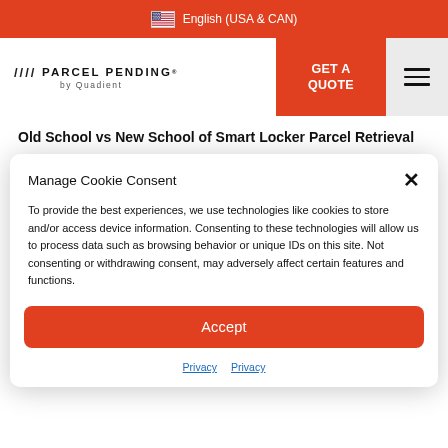English (USA & CAN)
[Figure (logo): Parcel Pending by Quadient logo with slash marks]
GET A QUOTE
Old School vs New School of Smart Locker Parcel Retrieval
Manage Cookie Consent
To provide the best experiences, we use technologies like cookies to store and/or access device information. Consenting to these technologies will allow us to process data such as browsing behavior or unique IDs on this site. Not consenting or withdrawing consent, may adversely affect certain features and functions.
Accept
Privacy  Privacy